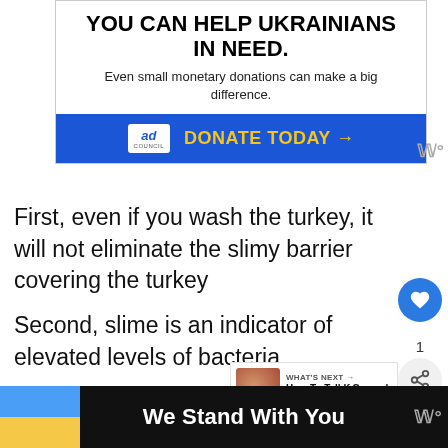[Figure (screenshot): Ad banner: YOU CAN HELP UKRAINIANS IN NEED. Even small monetary donations can make a big difference. Ad Council DONATE TODAY arrow button in blue/yellow.]
First, even if you wash the turkey, it will not eliminate the slimy barrier covering the turkey
Second, slime is an indicator of elevated levels of bacteria.
Even if you cook the turkey until [image] infrared thermometer registers 165°F, it
[Figure (screenshot): Bottom ad bar: Ukrainian flag colors (blue/yellow) with text 'We Stand With You' on black background with close X button and weather icon.]